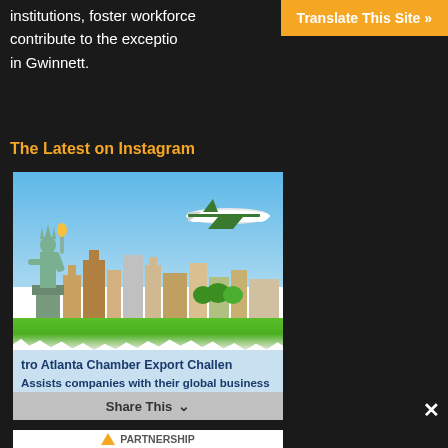institutions, foster workforce development, contribute to the exceptional quality of life in Gwinnett.
Translate This Site »
The Latest on Instagram
[Figure (photo): Instagram card showing a travel-themed promotional image with the Statue of Liberty, an airplane, and an international city skyline. Below the image is text reading 'tro Atlanta Chamber Export Challen' and 'Assists companies with their global business development efforts. Apply by September 3']
Share This
PARTNERSHIP